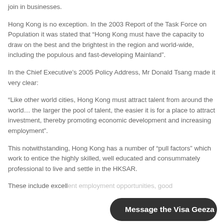join in businesses.
Hong Kong is no exception. In the 2003 Report of the Task Force on Population it was stated that “Hong Kong must have the capacity to draw on the best and the brightest in the region and world-wide, including the populous and fast-developing Mainland”.
In the Chief Executive’s 2005 Policy Address, Mr Donald Tsang made it very clear:
“Like other world cities, Hong Kong must attract talent from around the world… the larger the pool of talent, the easier it is for a place to attract investment, thereby promoting economic development and increasing employment”.
This notwithstanding, Hong Kong has a number of “pull factors” which work to entice the highly skilled, well educated and consummately professional to live and settle in the HKSAR.
These include excellent employment opportunities, good